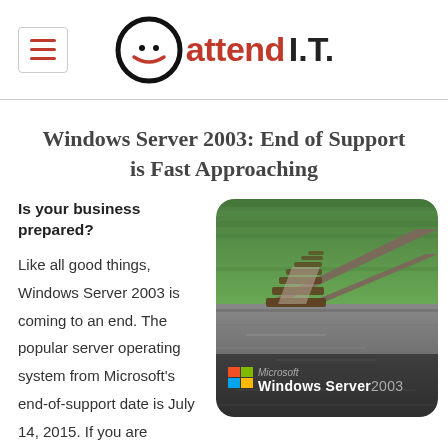Oattend I.T.
Windows Server 2003: End of Support is Fast Approaching
Is your business prepared?
Like all good things, Windows Server 2003 is coming to an end. The popular server operating system from Microsoft's end-of-support date is July 14, 2015. If you are surprised by
[Figure (photo): Photo of railway tracks ending at a cliff edge, with Windows Server 2003 branding logo overlay at the bottom]